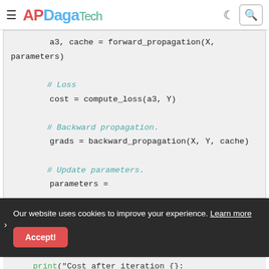APDaga Tech
a3, cache = forward_propagation(X, parameters)

    # Loss
    cost = compute_loss(a3, Y)

    # Backward propagation.
    grads = backward_propagation(X, Y, cache)

    # Update parameters.
    parameters =
Our website uses cookies to improve your experience. Learn more
Accept!
print("Cost after iteration {}: